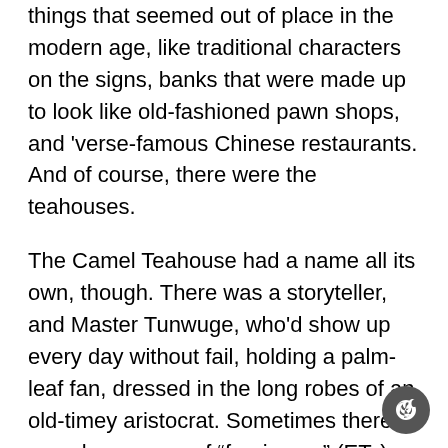things that seemed out of place in the modern age, like traditional characters on the signs, banks that were made up to look like old-fashioned pawn shops, and 'verse-famous Chinese restaurants. And of course, there were the teahouses.
The Camel Teahouse had a name all its own, though. There was a storyteller, and Master Tunwuge, who'd show up every day without fail, holding a palm-leaf fan, dressed in the long robes of an old-timey aristocrat. Sometimes there'd even be a group of "foreigners" (ETs). Business had been even better lately, after the Hump-backed Horse had gone out of business. Once news had gotten out that they'd been using android wait staff their customers had dried right up. People who came to places like this were paying for tradition.